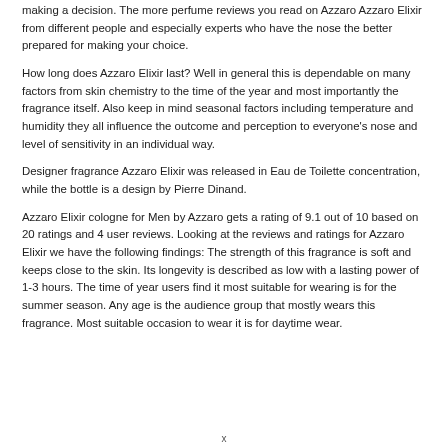making a decision. The more perfume reviews you read on Azzaro Azzaro Elixir from different people and especially experts who have the nose the better prepared for making your choice.
How long does Azzaro Elixir last? Well in general this is dependable on many factors from skin chemistry to the time of the year and most importantly the fragrance itself. Also keep in mind seasonal factors including temperature and humidity they all influence the outcome and perception to everyone's nose and level of sensitivity in an individual way.
Designer fragrance Azzaro Elixir was released in Eau de Toilette concentration, while the bottle is a design by Pierre Dinand.
Azzaro Elixir cologne for Men by Azzaro gets a rating of 9.1 out of 10 based on 20 ratings and 4 user reviews. Looking at the reviews and ratings for Azzaro Elixir we have the following findings: The strength of this fragrance is soft and keeps close to the skin. Its longevity is described as low with a lasting power of 1-3 hours. The time of year users find it most suitable for wearing is for the summer season. Any age is the audience group that mostly wears this fragrance. Most suitable occasion to wear it is for daytime wear.
x